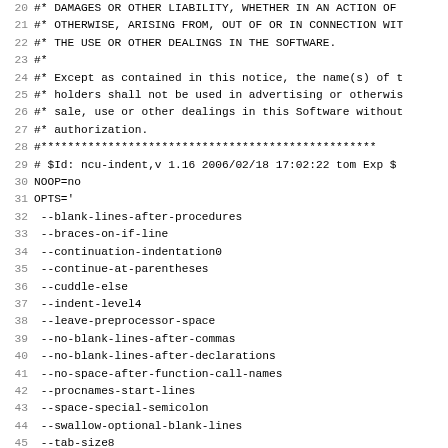Code listing lines 20-51 showing shell script with license comment and indent options